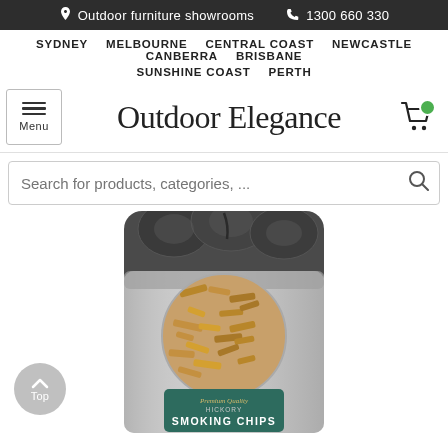Outdoor furniture showrooms  1300 660 330
SYDNEY  MELBOURNE  CENTRAL COAST  NEWCASTLE  CANBERRA  BRISBANE  SUNSHINE COAST  PERTH
Outdoor Elegance
Search for products, categories, ...
[Figure (photo): A bag of Premium Quality Hickory Smoking Chips with a transparent window showing wood chips, and dark charcoal logs visible at the top of the bag.]